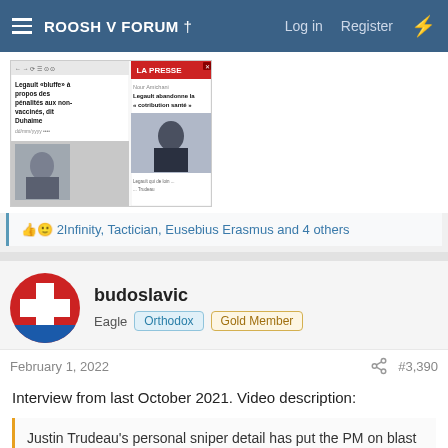ROOSH V FORUM † — Log in  Register
[Figure (screenshot): Screenshot of two French-language news articles about Legault and vaccines, with photos of politicians]
👍🙂 2Infinity, Tactician, Eusebius Erasmus and 4 others
budoslavic
Eagle  Orthodox  Gold Member
February 1, 2022  #3,390
Interview from last October 2021. Video description:
Justin Trudeau's personal sniper detail has put the PM on blast over his mandatory vaccine plan, calling the scheme "authoritarian."